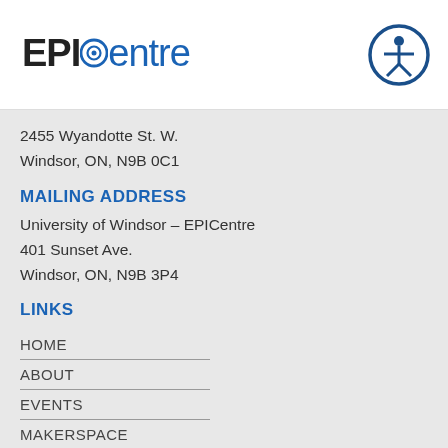EPICentre
2455 Wyandotte St. W.
Windsor, ON, N9B 0C1
MAILING ADDRESS
University of Windsor – EPICentre
401 Sunset Ave.
Windsor, ON, N9B 3P4
LINKS
HOME
ABOUT
EVENTS
MAKERSPACE